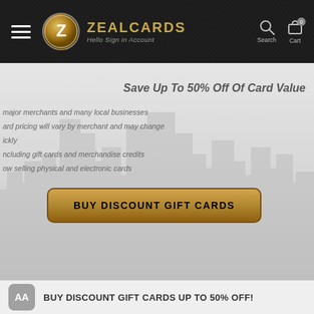ZEALCARDS — Hello Sign in Account — Search — Cart
[Figure (screenshot): Hero section with cityscape background photo (grayscale city skyline), overlaid with promotional text and a gold BUY DISCOUNT GIFT CARDS button]
Save Up To 50% Off Of Card Value
major merchants and many local businesses
ard pricing will vary by merchant and may change
ickly
ncluding gift cards and merchandise credits
ow selling physical and electronic cards
BUY DISCOUNT GIFT CARDS
BUY DISCOUNT GIFT CARDS UP TO 50% OFF!